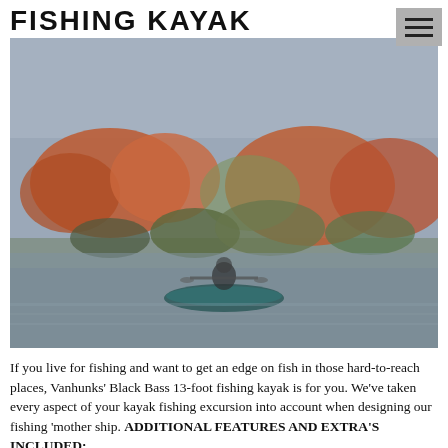FISHING KAYAK
[Figure (photo): A person kayaking on water near a colorful shoreline with orange and green vegetation in the background.]
If you live for fishing and want to get an edge on fish in those hard-to-reach places, Vanhunks' Black Bass 13-foot fishing kayak is for you. We've taken every aspect of your kayak fishing excursion into account when designing our fishing 'mother ship. ADDITIONAL FEATURES AND EXTRA'S INCLUDED: 1 Two-Place Paddle with the same with small...